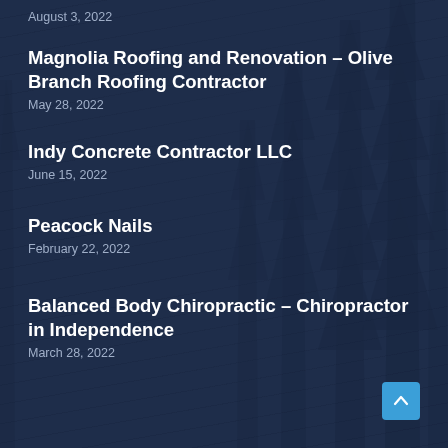August 3, 2022
Magnolia Roofing and Renovation – Olive Branch Roofing Contractor
May 28, 2022
Indy Concrete Contractor LLC
June 15, 2022
Peacock Nails
February 22, 2022
Balanced Body Chiropractic – Chiropractor in Independence
March 28, 2022